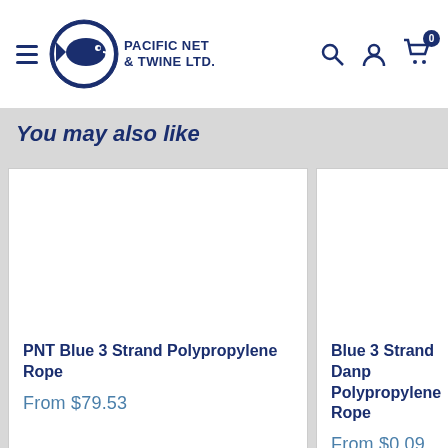Pacific Net & Twine Ltd. — Navigation header with logo, search, account, and cart icons
You may also like
PNT Blue 3 Strand Polypropylene Rope
From $79.53
Blue 3 Strand Danp Polypropylene Rope
From $0.09